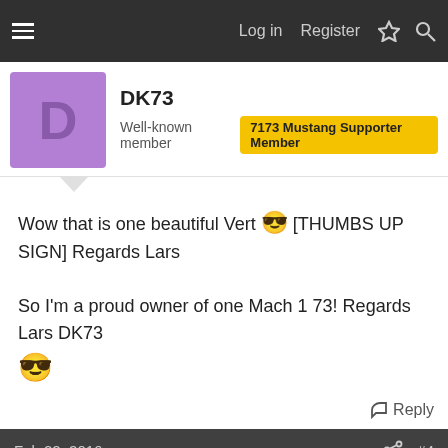Log in  Register
DK73
Well-known member  7173 Mustang Supporter Member
Wow that is one beautiful Vert 😎 [THUMBS UP SIGN] Regards Lars

So I'm a proud owner of one Mach 1 73! Regards Lars DK73 😎
↩ Reply
Feb 22, 2016  #4
Austin Vert
Well-known member  7173 Mustang Supporter Member